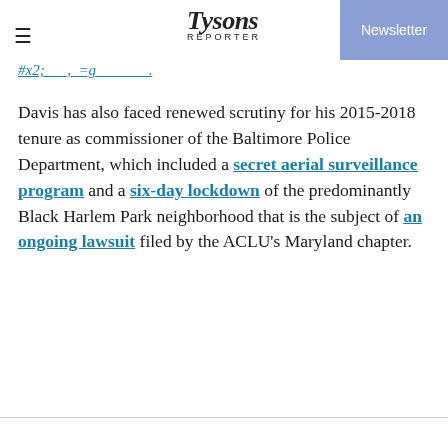Tysons Reporter | Newsletter
…[truncated link]…
Davis has also faced renewed scrutiny for his 2015-2018 tenure as commissioner of the Baltimore Police Department, which included a secret aerial surveillance program and a six-day lockdown of the predominantly Black Harlem Park neighborhood that is the subject of an ongoing lawsuit filed by the ACLU's Maryland chapter.